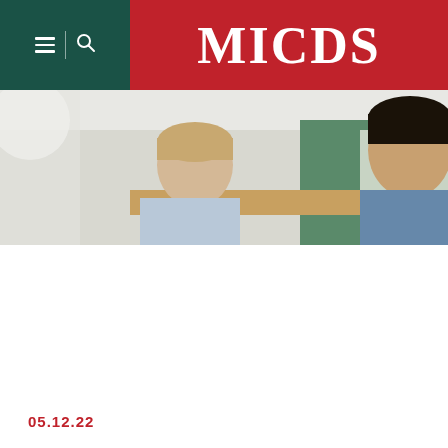[Figure (logo): MICDS school logo — white bold text 'MICDS' on red background, with hamburger menu and search icons on dark green left panel]
[Figure (photo): Two students working together in a classroom setting, one with light hair and one with dark hair, seen from behind/side, with a green wall and whiteboard visible in background]
05.12.22